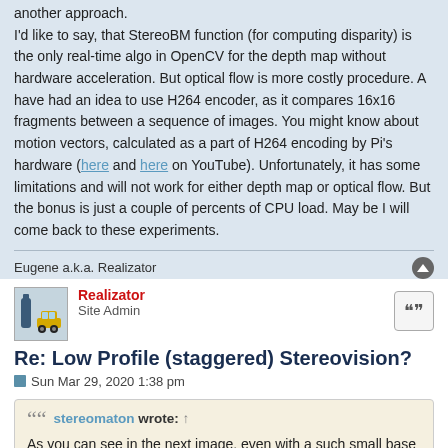another approach. I'd like to say, that StereoBM function (for computing disparity) is the only real-time algo in OpenCV for the depth map without hardware acceleration. But optical flow is more costly procedure. A have had an idea to use H264 encoder, as it compares 16x16 fragments between a sequence of images. You might know about motion vectors, calculated as a part of H264 encoding by Pi's hardware (here and here on YouTube). Unfortunately, it has some limitations and will not work for either depth map or optical flow. But the bonus is just a couple of percents of CPU load. May be I will come back to these experiments.
Eugene a.k.a. Realizator
[Figure (illustration): Avatar image of user Realizator (toy car and bottle)]
Realizator
Site Admin
Re: Low Profile (staggered) Stereovision?
Sun Mar 29, 2020 1:38 pm
stereomaton wrote: ↑ As you can see in the next image, even with a such small base on 720p image, you could retrieve quite a lot of good quality depth information. Here, it was extracted with a (slow) dense optical flow estimator, whose result was projected into horizontal direction (ie.